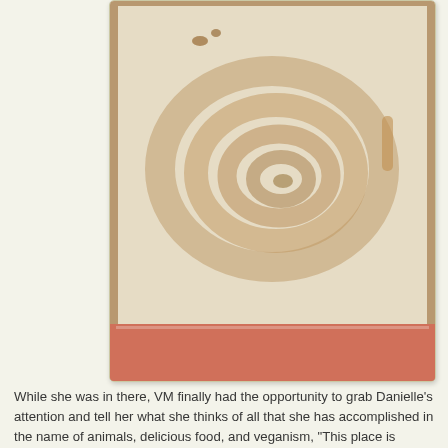[Figure (photo): A close-up photo of an empty pastry box showing the spiral imprint/stain left by a cinnamon roll, sitting in a cardboard box with pink printed text on the sides.]
While she was in there, VM finally had the opportunity to grab Danielle's attention and tell her what she thinks of all that she has accomplished in the name of animals, delicious food, and veganism, "This place is remarkable."  I concur.
And to end a day started with Vegan Treats with even more Vegan Treats, VM delivered to me a coveted cup of VT ice cream: chocolate and peanut butter swirl with rainbow sprinkles to be exact.
[Figure (photo): Partial photo of what appears to be a cup of ice cream with a spoon, showing the top portion of the image.]